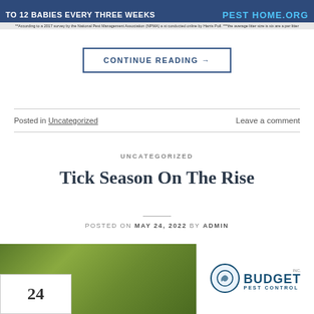[Figure (screenshot): Top banner with dark blue background showing partial text on left side and 'PEST HOME .ORG' in teal/blue text on right side, with a small footnote below]
CONTINUE READING →
Posted in Uncategorized    Leave a comment
UNCATEGORIZED
Tick Season On The Rise
POSTED ON MAY 24, 2022 BY ADMIN
[Figure (photo): Bottom section showing a close-up green nature/plant photo on the left with a date badge showing '24', and a Budget Pest Control logo on the right]